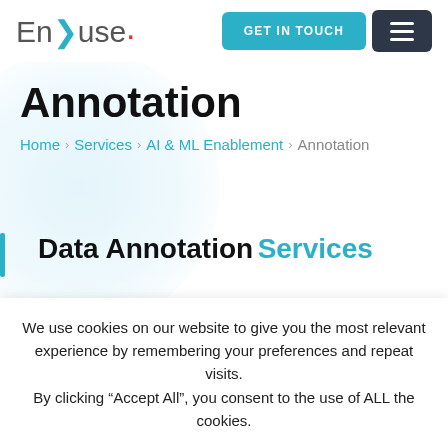EnFuse | GET IN TOUCH
Annotation
Home > Services > AI & ML Enablement > Annotation
Data Annotation Services
We use cookies on our website to give you the most relevant experience by remembering your preferences and repeat visits. By clicking “Accept All”, you consent to the use of ALL the cookies.